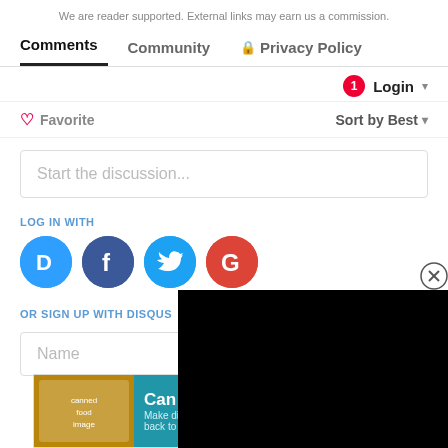We are reader supported. External links may earn us a commission.
Comments  Community  🔒 Privacy Policy
❤ Favorite   Sort by Best ▾   1 Login ▾
Start the discussion...
LOG IN WITH
[Figure (screenshot): Social login icons: Disqus (D), Facebook (f), Twitter bird, Google (G)]
OR SIGN UP WITH DISQUS ?
Name
[Figure (screenshot): Black video overlay panel in the lower right]
[Figure (advertisement): Can Do Dinners advertisement: Make dinner easy during back to school season. Shop Now button.]